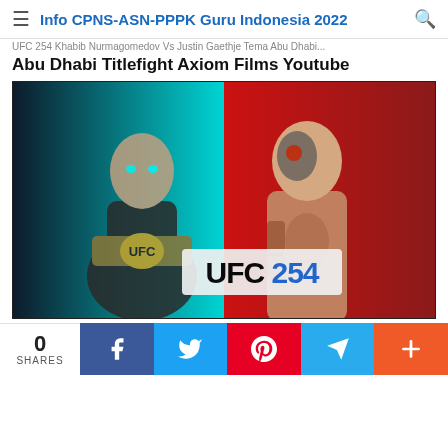Info CPNS-ASN-PPPK Guru Indonesia 2022
UFC 254 Khabib Nurmagomedov Vs Justin Gaethje Tema Abu Dhabi Titlefight Axiom Films Youtube
[Figure (photo): UFC 254 promotional image showing two fighters: left side with cyan background showing a fighter holding a belt, right side with red background showing a tattooed fighter with face paint. Text reads UFC 254 in the center.]
0 SHARES